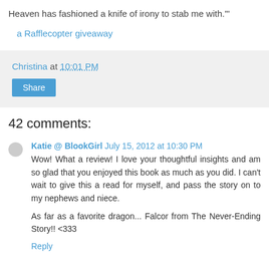Heaven has fashioned a knife of irony to stab me with.'"
a Rafflecopter giveaway
Christina at 10:01 PM
Share
42 comments:
Katie @ BlookGirl July 15, 2012 at 10:30 PM
Wow! What a review! I love your thoughtful insights and am so glad that you enjoyed this book as much as you did. I can't wait to give this a read for myself, and pass the story on to my nephews and niece.

As far as a favorite dragon... Falcor from The Never-Ending Story!! <333
Reply